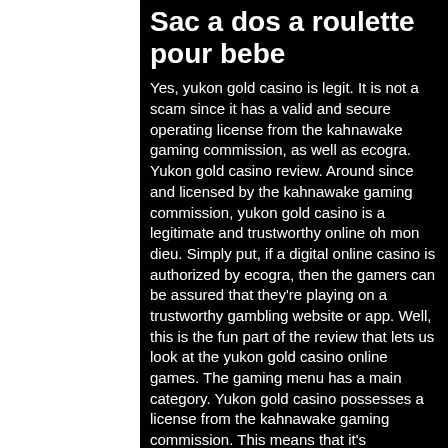Sac a dos a roulette pour bebe
Yes, yukon gold casino is legit. It is not a scam since it has a valid and secure operating license from the kahnawake gaming commission, as well as ecogra. Yukon gold casino review. Around since and licensed by the kahnawake gaming commission, yukon gold casino is a legitimate and trustworthy online oh mon dieu. Simply put, if a digital online casino is authorized by ecogra, then the gamers can be assured that they're playing on a trustworthy gambling website or app. Well, this is the fun part of the review that lets us look at the yukon gold casino online games. The gaming menu has a main category. Yukon gold casino possesses a license from the kahnawake gaming commission. This means that it's completely legit for canadian online casino players. You can join the